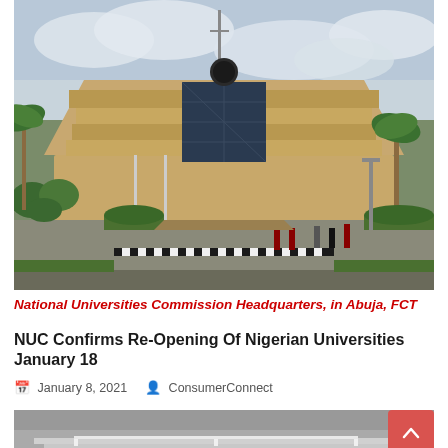[Figure (photo): Photograph of the National Universities Commission Headquarters building in Abuja, FCT — a large tan/beige multi-story government building with a rounded facade, solar panels visible, palm trees and landscaped grounds in the foreground, cloudy sky above.]
National Universities Commission Headquarters, in Abuja, FCT
NUC Confirms Re-Opening Of Nigerian Universities January 18
January 8, 2021   ConsumerConnect
[Figure (photo): Partial photograph of a car (SUV) from the front, gray background, only the top portion visible.]